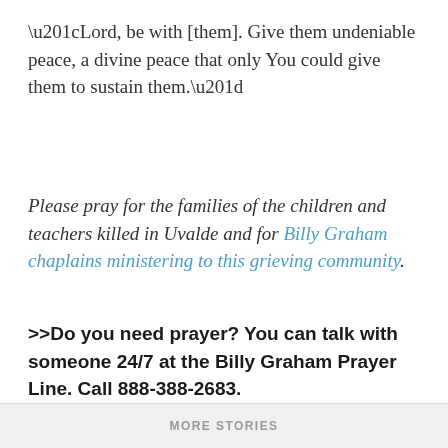“Lord, be with [them]. Give them undeniable peace, a divine peace that only You could give them to sustain them.”
Please pray for the families of the children and teachers killed in Uvalde and for Billy Graham chaplains ministering to this grieving community.
>>Do you need prayer? You can talk with someone 24/7 at the Billy Graham Prayer Line. Call 888-388-2683.
MORE STORIES